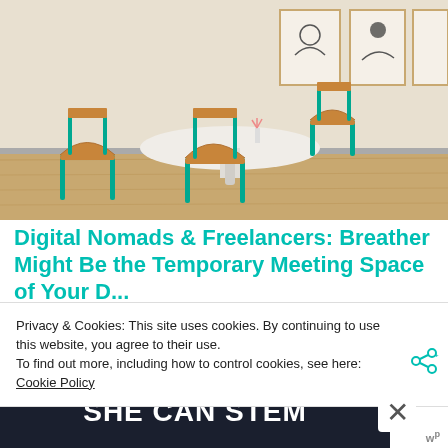[Figure (photo): Interior photo of a modern meeting room with a round white table, wooden chairs with teal/green metal legs, light wood floor, and framed abstract art prints on the white wall in the background.]
Digital Nomads & Freelancers: Breather Might Be the Temporary Meeting Space of Your D...
Privacy & Cookies: This site uses cookies. By continuing to use this website, you agree to their use.
To find out more, including how to control cookies, see here: Cookie Policy
[Figure (advertisement): Dark banner advertisement with white bold text reading 'SHE CAN STEM']